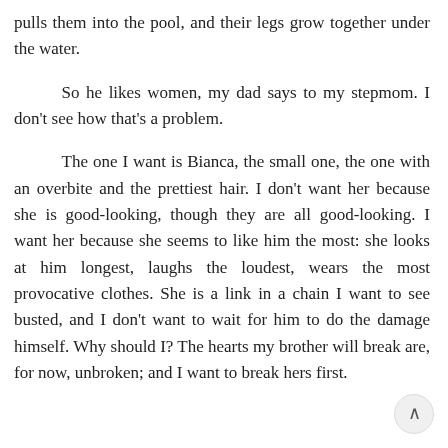pulls them into the pool, and their legs grow together under the water.
So he likes women, my dad says to my stepmom. I don't see how that's a problem.
The one I want is Bianca, the small one, the one with an overbite and the prettiest hair. I don't want her because she is good-looking, though they are all good-looking. I want her because she seems to like him the most: she looks at him longest, laughs the loudest, wears the most provocative clothes. She is a link in a chain I want to see busted, and I don't want to wait for him to do the damage himself. Why should I? The hearts my brother will break are, for now, unbroken; and I want to break hers first.